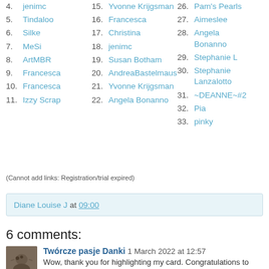4. jenimc
5. Tindaloo
6. Silke
7. MeSi
8. ArtMBR
9. Francesca
10. Francesca
11. Izzy Scrap
15. Yvonne Krijgsman
16. Francesca
17. Christina
18. jenimc
19. Susan Botham
20. AndreaBastelmaus
21. Yvonne Krijgsman
22. Angela Bonanno
26. Pam's Pearls
27. Aimeslee
28. Angela Bonanno
29. Stephanie L
30. Stephanie Lanzalotto
31. ~DEANNE~#2
32. Pia
33. pinky
(Cannot add links: Registration/trial expired)
Diane Louise J at 09:00
6 comments:
Twórcze pasje Danki  1 March 2022 at 12:57
Wow, thank you for highlighting my card. Congratulations to